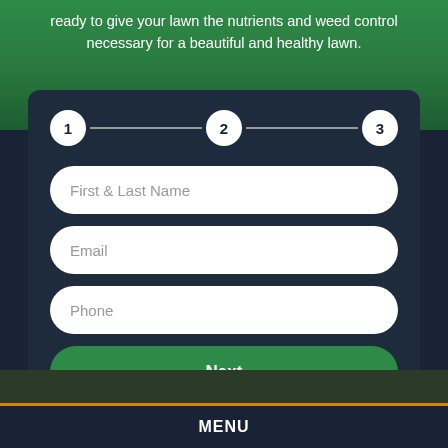ready to give your lawn the nutrients and weed control necessary for a beautiful and healthy lawn.
[Figure (infographic): 3-step progress indicator with circles numbered 1, 2, 3 connected by horizontal lines]
First & Last Name
Email
Phone
Next
MENU